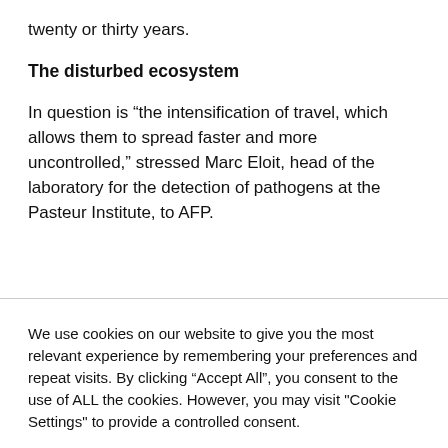twenty or thirty years.
The disturbed ecosystem
In question is “the intensification of travel, which allows them to spread faster and more uncontrolled,” stressed Marc Eloit, head of the laboratory for the detection of pathogens at the Pasteur Institute, to AFP.
We use cookies on our website to give you the most relevant experience by remembering your preferences and repeat visits. By clicking “Accept All”, you consent to the use of ALL the cookies. However, you may visit “Cookie Settings” to provide a controlled consent.